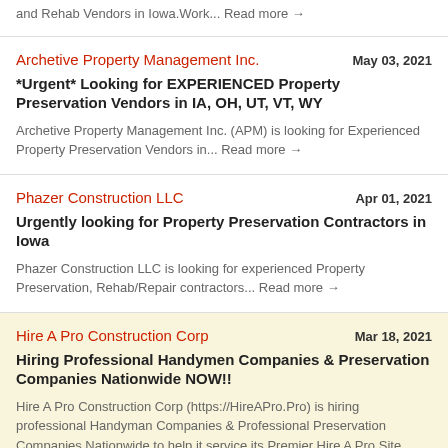and Rehab Vendors in Iowa.Work... Read more →
Archetive Property Management Inc.    May 03, 2021
*Urgent* Looking for EXPERIENCED Property Preservation Vendors in IA, OH, UT, VT, WY
Archetive Property Management Inc. (APM) is looking for Experienced Property Preservation Vendors in... Read more →
Phazer Construction LLC    Apr 01, 2021
Urgently looking for Property Preservation Contractors in Iowa
Phazer Construction LLC is looking for experienced Property Preservation, Rehab/Repair contractors... Read more →
Hire A Pro Construction Corp    Mar 18, 2021
Hiring Professional Handymen Companies & Preservation Companies Nationwide NOW!!
Hire A Pro Construction Corp (https://HireAPro.Pro) is hiring professional Handyman Companies & Professional Preservation Companies Nationwide to help it service its Premier Hire A Pro Site...